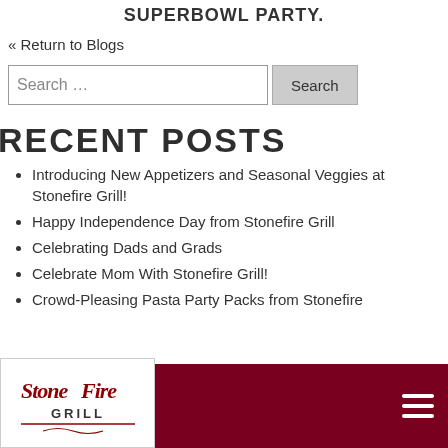SUPERBOWL PARTY.
« Return to Blogs
Search …
RECENT POSTS
Introducing New Appetizers and Seasonal Veggies at Stonefire Grill!
Happy Independence Day from Stonefire Grill
Celebrating Dads and Grads
Celebrate Mom With Stonefire Grill!
Crowd-Pleasing Pasta Party Packs from Stonefire
[Figure (logo): Stonefire Grill logo in red and black on white background]